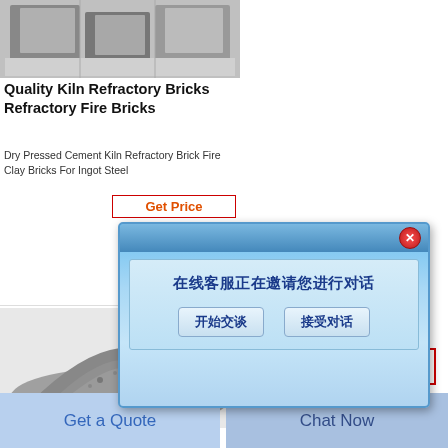[Figure (photo): Photo of refractory bricks/blocks, gray metallic blocks stacked]
Quality Kiln Refractory Bricks Refractory Fire Bricks
Dry Pressed Cement Kiln Refractory Brick Fire Clay Bricks For Ingot Steel
Get Price
[Figure (photo): Photo of gray refractory powder/dust pile]
s to clicks online e ETF to
The Global Online Retail ETFIBUY provides exposure to
Get Price
[Figure (screenshot): Chinese chat popup dialog: 在线客服正在邀请您进行对话 with buttons 开始交谈 and 接受对话]
Get a Quote
Chat Now